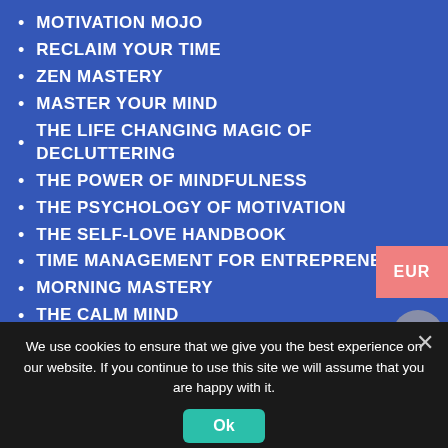MOTIVATION MOJO
RECLAIM YOUR TIME
ZEN MASTERY
MASTER YOUR MIND
THE LIFE CHANGING MAGIC OF DECLUTTERING
THE POWER OF MINDFULNESS
THE PSYCHOLOGY OF MOTIVATION
THE SELF-LOVE HANDBOOK
TIME MANAGEMENT FOR ENTREPRENEURS
MORNING MASTERY
THE CALM MIND
GLUTEN FREE LIFESTYLE
DETOX YOURSELF
RELENTLESS OPTIMISM
YOUR INNER GREATNESS
HAPPINESS THROUGH SELF-CARE
We use cookies to ensure that we give you the best experience on our website. If you continue to use this site we will assume that you are happy with it.